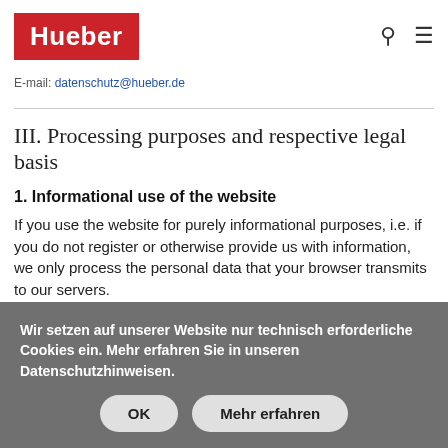Hueber [logo] | search icon | menu icon
E-mail: datenschutz@hueber.de
III. Processing purposes and respective legal basis
1. Informational use of the website
If you use the website for purely informational purposes, i.e. if you do not register or otherwise provide us with information, we only process the personal data that your browser transmits to our servers.
Wir setzen auf unserer Website nur technisch erforderliche Cookies ein. Mehr erfahren Sie in unseren Datenschutzhinweisen.
OK   Mehr erfahren